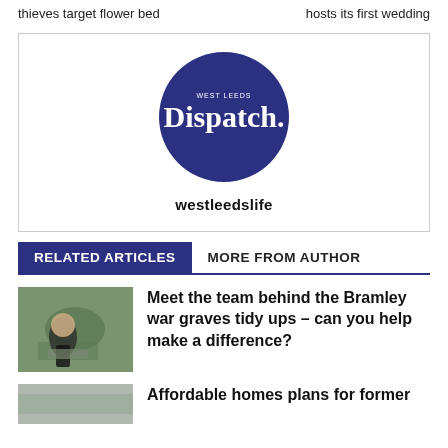thieves target flower bed | hosts its first wedding
[Figure (logo): West Leeds Dispatch circular logo in dark navy blue with text 'WEST LEEDS Dispatch.' in white, followed by username 'westleedslife' below]
RELATED ARTICLES	MORE FROM AUTHOR
[Figure (photo): Person kneeling at a grave, tending to war graves in a cemetery]
Meet the team behind the Bramley war graves tidy ups – can you help make a difference?
[Figure (photo): Partial image of article about affordable homes]
Affordable homes plans for former